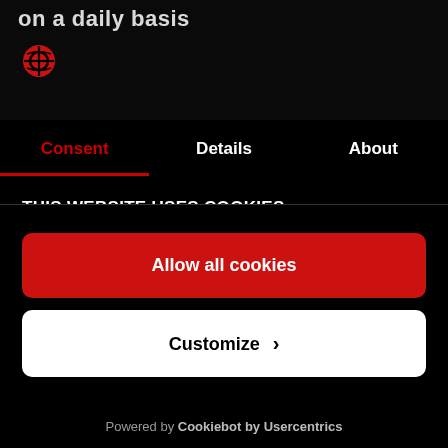on a daily basis
[Figure (logo): Red circular logo icon]
Consent | Details | About
THIS WEBSITE USES COOKIES
We use cookies to personalise content and ads, to provide social media features and to analyse our traffic according to our privacy policy. We also share
Allow all cookies
Customize >
Powered by Cookiebot by Usercentrics